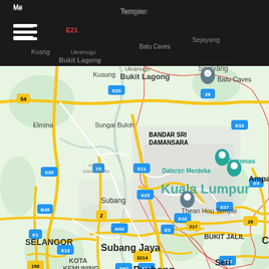[Figure (map): Google Maps screenshot showing Kuala Lumpur and surrounding areas in Malaysia, including locations such as Batu Caves, Bandar Sri Damansara, Sungai Buloh, Subang, Subang Jaya, Puchong, Selangor, Kota Kemuning, Bukit Jalil, Seri Kembangan, Thean Hou Temple, Dataran Merdeka, Petronas, Ampang, Elmina, and road numbers E35, E33, E11, E23, E9, E10, E37, E5, E1, E13, E20, B49, AH2, 2, 15, 28, 54, 190, 217, 3214.]